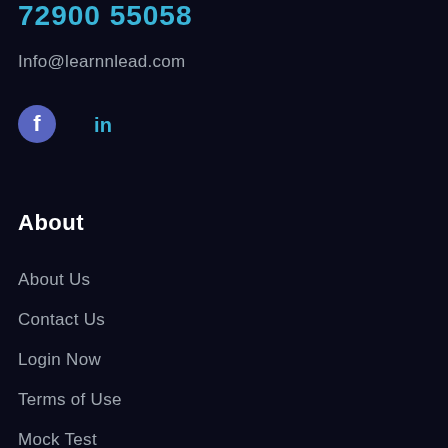72900 55058
Info@learnnlead.com
[Figure (illustration): Facebook and LinkedIn social media icons]
About
About Us
Contact Us
Login Now
Terms of Use
Mock Test